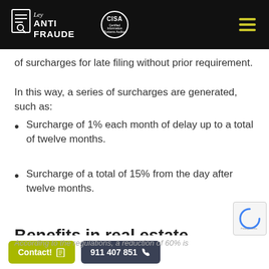Ley Anti Fraude | CISA Certified Information Systems Auditor
of surcharges for late filing without prior requirement.
In this way, a series of surcharges are generated, such as:
Surcharge of 1% each month of delay up to a total of twelve months.
Surcharge of a total of 15% from the day after twelve months.
Benefits in real estate
According to the regulations, a reduction of 60% is